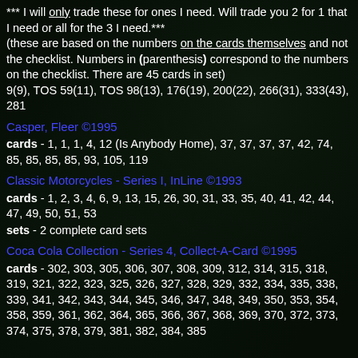*** I will only trade these for ones I need. Will trade you 2 for 1 that I need or all for the 3 I need.*** (these are based on the numbers on the cards themselves and not the checklist. Numbers in (parenthesis) correspond to the numbers on the checklist. There are 45 cards in set) 9(9), TOS 59(11), TOS 98(13), 176(19), 200(22), 266(31), 333(43), 281
Casper, Fleer ©1995
cards - 1, 1, 1, 4, 12 (Is Anybody Home), 37, 37, 37, 37, 42, 74, 85, 85, 85, 85, 93, 105, 119
Classic Motorcycles - Series I, InLine ©1993
cards - 1, 2, 3, 4, 6, 9, 13, 15, 26, 30, 31, 33, 35, 40, 41, 42, 44, 47, 49, 50, 51, 53
sets - 2 complete card sets
Coca Cola Collection - Series 4, Collect-A-Card ©1995
cards - 302, 303, 305, 306, 307, 308, 309, 312, 314, 315, 318, 319, 321, 322, 323, 325, 326, 327, 328, 329, 332, 334, 335, 338, 339, 341, 342, 343, 344, 345, 346, 347, 348, 349, 350, 353, 354, 358, 359, 361, 362, 364, 365, 366, 367, 368, 369, 370, 372, 373, 374, 375, 378, 379, 381, 382, 384, 385